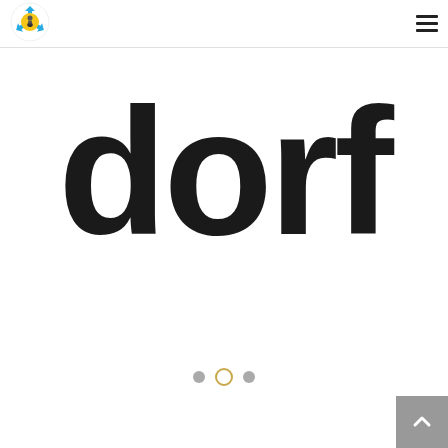[Figure (logo): Circular logo with arrows and trophy/character in center, yellow and blue colors]
[Figure (logo): Dorf brand logo in large bold black lowercase letters on white background]
[Figure (other): Hamburger menu icon (three horizontal lines) in top right corner]
[Figure (other): Slider navigation dots: left filled gray, center outlined gold/active, right filled gray]
[Figure (other): Back to top button: gray square with white upward chevron, bottom right corner]